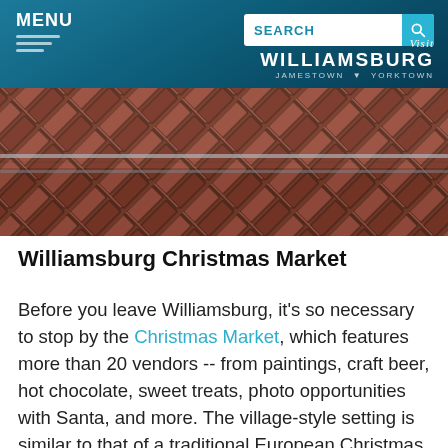MENU | SEARCH | Visit Williamsburg Jamestown Yorktown
[Figure (photo): Close-up aerial view of a herringbone brick paving pattern in reddish-brown tones]
Williamsburg Christmas Market
Before you leave Williamsburg, it's so necessary to stop by the Christmas Market, which features more than 20 vendors -- from paintings, craft beer, hot chocolate, sweet treats, photo opportunities with Santa, and more. The village-style setting is similar to that of a traditional European Christmas Market. I appreciated that